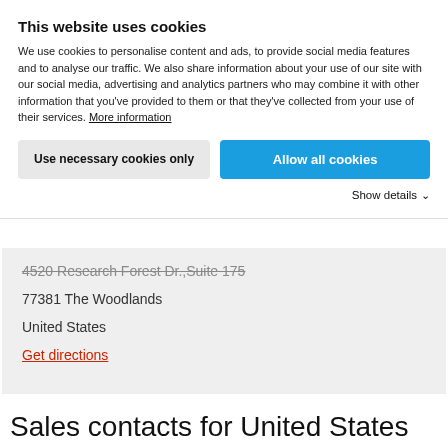This website uses cookies
We use cookies to personalise content and ads, to provide social media features and to analyse our traffic. We also share information about your use of our site with our social media, advertising and analytics partners who may combine it with other information that you've provided to them or that they've collected from your use of their services. More information
Use necessary cookies only
Allow all cookies
Show details
4520 Research Forest Dr.,Suite 175
77381 The Woodlands
United States
Get directions
Sales contacts for United States
TFL USA/Canada Inc.